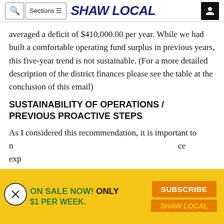SHAW LOCAL
averaged a deficit of $410,000.00 per year. While we had built a comfortable operating fund surplus in previous years, this five-year trend is not sustainable. (For a more detailed description of the district finances please see the table at the conclusion of this email)
SUSTAINABILITY OF OPERATIONS / PREVIOUS PROACTIVE STEPS
As I considered this recommendation, it is important to note the steps that the district has taken to reduce expenditures and maintain a balanced budget
[Figure (screenshot): Advertisement overlay: yellow banner with 'ON SALE NOW! ONLY $1 PER WEEK.' in green text, orange SUBSCRIBE button, and SHAW LOCAL logo in italic. Close button (X circle) on the left.]